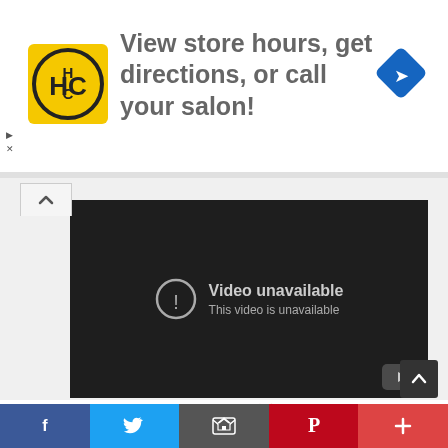[Figure (screenshot): Advertisement banner with HC Salon logo, text 'View store hours, get directions, or call your salon!', and a blue navigation diamond icon]
[Figure (screenshot): Embedded YouTube video player showing 'Video unavailable. This video is unavailable.' error message on dark background]
Wishes! 🎁
This was all about Feni to Dhaka train schedule and Feni to Dhaka train ticket price. Please have a look at Dhaka to Feni Train Schedule & Ti... t
[Figure (screenshot): Social media share bar with Facebook, Twitter, Email, Pinterest, and Plus buttons]